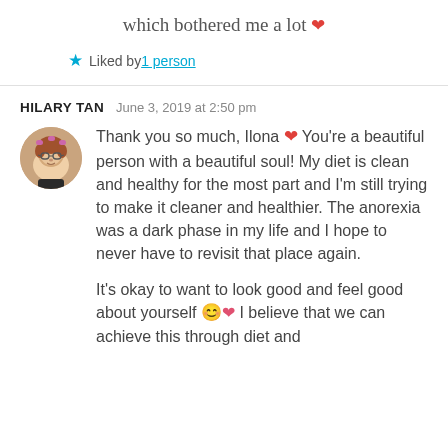which bothered me a lot ❤
★ Liked by 1 person
HILARY TAN   June 3, 2019 at 2:50 pm
[Figure (photo): Circular avatar photo of a young woman with glasses and hair curlers]
Thank you so much, Ilona ❤ You're a beautiful person with a beautiful soul! My diet is clean and healthy for the most part and I'm still trying to make it cleaner and healthier. The anorexia was a dark phase in my life and I hope to never have to revisit that place again.
It's okay to want to look good and feel good about yourself 😊❤ I believe that we can achieve this through diet and